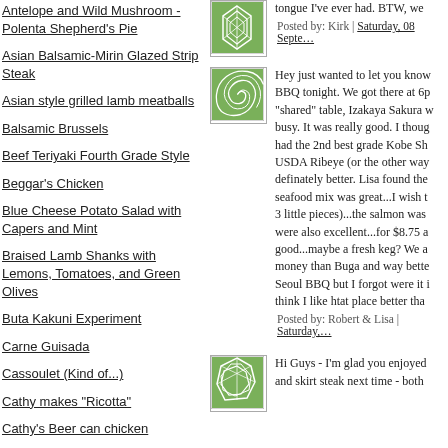Antelope and Wild Mushroom - Polenta Shepherd's Pie
Asian Balsamic-Mirin Glazed Strip Steak
Asian style grilled lamb meatballs
Balsamic Brussels
Beef Teriyaki Fourth Grade Style
Beggar's Chicken
Blue Cheese Potato Salad with Capers and Mint
Braised Lamb Shanks with Lemons, Tomatoes, and Green Olives
Buta Kakuni Experiment
Carne Guisada
Cassoulet (Kind of...)
Cathy makes "Ricotta"
Cathy's Beer can chicken
Cathy's BLT Chicken
Cathy's Carnitas
[Figure (illustration): Green square avatar with abstract leaf/geometric pattern]
tongue I've ever had. BTW, we...
Posted by: Kirk | Saturday, 08 Septer...
[Figure (illustration): Green square avatar with swirling spiral pattern]
Hey just wanted to let you know... BBQ tonight. We got there at 6p... "shared" table, Izakaya Sakura w... busy. It was really good. I thoug... had the 2nd best grade Kobe Sh... USDA Ribeye (or the other way... definately better. Lisa found the... seafood mix was great...I wish t... 3 little pieces)...the salmon was... were also excellent...for $8.75 a... good...maybe a fresh keg? We a... money than Buga and way bette... Seoul BBQ but I forgot were it i... think I like htat place better tha...
Posted by: Robert & Lisa | Saturday,...
[Figure (illustration): Green square avatar with voronoi/cell pattern]
Hi Guys - I'm glad you enjoyed... and skirt steak next time - both...